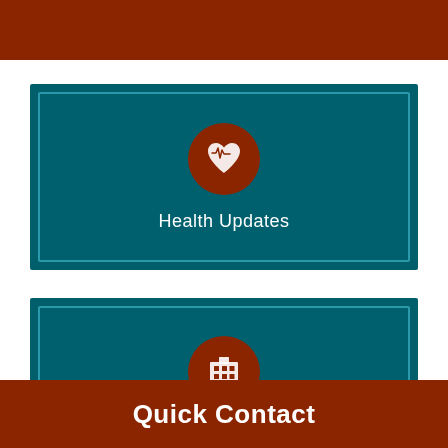[Figure (other): Top dark red/brown horizontal bar decoration]
[Figure (other): Health Updates card with teal background, brown circle icon containing heart with pulse/EKG line, and white text reading 'Health Updates']
[Figure (other): Partially visible second card with teal background and brown circle icon showing a building/hospital icon, partially cut off at bottom]
Quick Contact